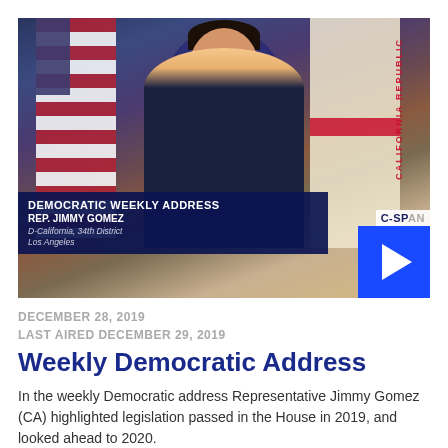[Figure (photo): Video thumbnail showing Rep. Jimmy Gomez standing at a podium with US and California state flags behind him. A lower-third graphic reads 'DEMOCRATIC WEEKLY ADDRESS / REP. JIMMY GOMEZ / D-California, 34th District / Los Angeles'. A C-SPAN logo and blue play button are visible.]
DECEMBER 28, 2019
LAST AIRED DECEMBER 29, 2019
Weekly Democratic Address
In the weekly Democratic address Representative Jimmy Gomez (CA) highlighted legislation passed in the House in 2019, and looked ahead to 2020.
116 VIEWS